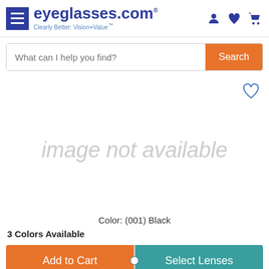[Figure (screenshot): eyeglasses.com website header with hamburger menu, logo, tagline 'Clearly Better: Vision+Value', and icons for account, wishlist, and cart]
[Figure (screenshot): Search bar with placeholder text 'What can I help you find?' and orange Search button]
[Figure (screenshot): Product image area showing 'image not available' placeholder text in light gray, with heart/wishlist icon in top right]
Color: (001) Black
3 Colors Available
[Figure (screenshot): Two action buttons: orange 'Add to Cart' button and teal 'Select Lenses' button, with partial color swatches below]